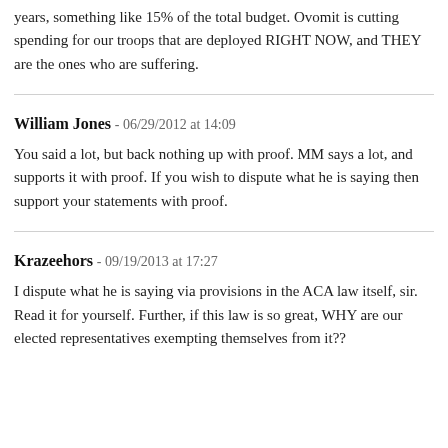years, something like 15% of the total budget. Ovomit is cutting spending for our troops that are deployed RIGHT NOW, and THEY are the ones who are suffering.
William Jones - 06/29/2012 at 14:09
You said a lot, but back nothing up with proof. MM says a lot, and supports it with proof. If you wish to dispute what he is saying then support your statements with proof.
Krazeehors - 09/19/2013 at 17:27
I dispute what he is saying via provisions in the ACA law itself, sir. Read it for yourself. Further, if this law is so great, WHY are our elected representatives exempting themselves from it??